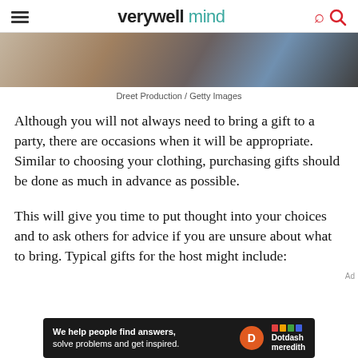verywell mind
[Figure (photo): Close-up photo of hands exchanging or holding something, partial view, cropped at top]
Dreet Production / Getty Images
Although you will not always need to bring a gift to a party, there are occasions when it will be appropriate. Similar to choosing your clothing, purchasing gifts should be done as much in advance as possible.
This will give you time to put thought into your choices and to ask others for advice if you are unsure about what to bring. Typical gifts for the host might include:
[Figure (other): Dotdash Meredith advertisement banner: dark background, text 'We help people find answers, solve problems and get inspired.' with D logo and Dotdash meredith branding]